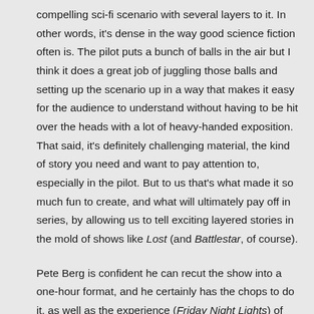compelling sci-fi scenario with several layers to it. In other words, it's dense in the way good science fiction often is. The pilot puts a bunch of balls in the air but I think it does a great job of juggling those balls and setting up the scenario up in a way that makes it easy for the audience to understand without having to be hit over the heads with a lot of heavy-handed exposition. That said, it's definitely challenging material, the kind of story you need and want to pay attention to, especially in the pilot. But to us that's what made it so much fun to create, and what will ultimately pay off in series, by allowing us to tell exciting layered stories in the mold of shows like Lost (and Battlestar, of course).
Pete Berg is confident he can recut the show into a one-hour format, and he certainly has the chops to do it, as well as the experience (Friday Night Lights) of creating network shows that are both emotionally compelling and accessible. So Ron and I are